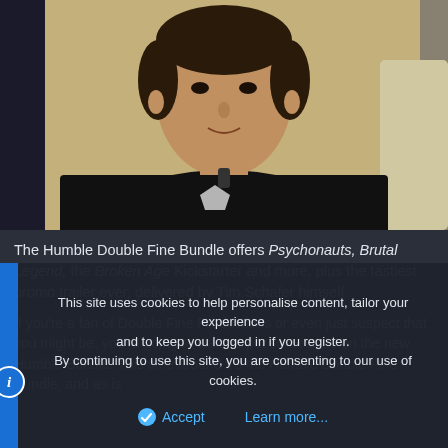[Figure (photo): A man in a black t-shirt with short dark hair, smiling slightly at the camera. He appears to be indoors with a light-colored background. Likely Tim Schafer.]
The Humble Double Fine Bundle offers Psychonauts, Brutal Legend, the Broken Age Kickstarter and more, plus the tastiest promo trailer ever, delivered by Tim Schafer himself.
If you're a fan of Double Fine Productions or even just suspect that you might be, you're going to want to put some eyes on the new Humble Bundle. This time around it's the Humble Double Fine Bundle, and as is
This site uses cookies to help personalise content, tailor your experience and to keep you logged in if you register.
By continuing to use this site, you are consenting to our use of cookies.
Accept   Learn more...